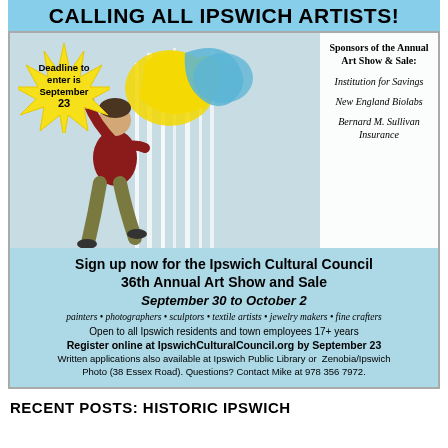CALLING ALL IPSWICH ARTISTS!
[Figure (illustration): Illustration of a person painting a large canvas with yellow and blue paint strokes, with a yellow starburst badge reading 'Deadline to enter is September 23' and a sponsors panel listing Institution for Savings, New England Biolabs, Bernard M. Sullivan Insurance]
Sign up now for the Ipswich Cultural Council 36th Annual Art Show and Sale
September 30 to October 2
painters • photographers • sculptors • textile artists • jewelry makers • fine crafters
Open to all Ipswich residents and town employees 17+ years
Register online at IpswichCulturalCouncil.org by September 23
Written applications also available at Ipswich Public Library or Zenobia/Ipswich Photo (38 Essex Road). Questions? Contact Mike at 978 356 7972.
RECENT POSTS: HISTORIC IPSWICH